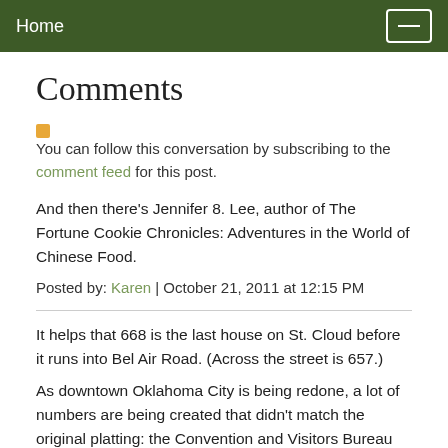Home
Comments
You can follow this conversation by subscribing to the comment feed for this post.
And then there's Jennifer 8. Lee, author of The Fortune Cookie Chronicles: Adventures in the World of Chinese Food.
Posted by: Karen | October 21, 2011 at 12:15 PM
It helps that 668 is the last house on St. Cloud before it runs into Bel Air Road. (Across the street is 657.)
As downtown Oklahoma City is being redone, a lot of numbers are being created that didn't match the original platting: the Convention and Visitors Bureau has hung out its shingle at 189 West Sheridan, a number which puzzled me until it dawned on me that it was meant to commemorate the Land Run, in 1889. (And 1889 West